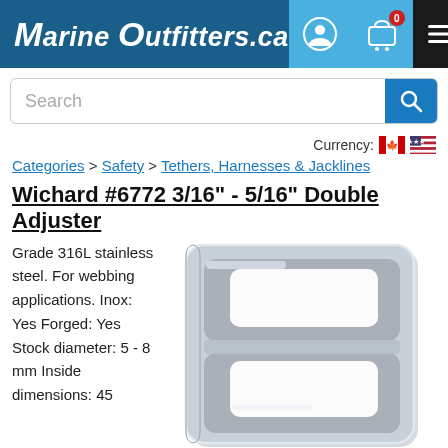Marine Outfitters.ca
Search
Currency:
Categories > Safety > Tethers, Harnesses & Jacklines
Wichard #6772 3/16" - 5/16" Double Adjuster
Grade 316L stainless steel. For webbing applications. Inox: Yes Forged: Yes Stock diameter: 5 - 8 mm Inside dimensions: 45
[Figure (photo): Photo of a stainless steel double adjuster buckle (Wichard #6772), a rectangular metal piece with two rectangular slots/openings, viewed from the front.]